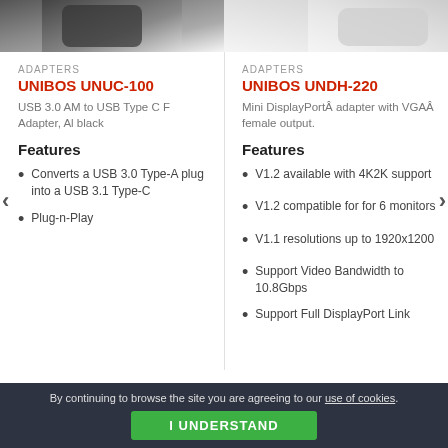[Figure (photo): Partial product image top-left (dark adapter)]
[Figure (photo): Partial product image top-right (white/light adapter)]
ADAPTERS
UNIBOS UNUC-100
USB 3.0 AM to USB Type C F Adapter, Al black
Features
Converts a USB 3.0 Type-A plug into a USB 3.1 Type-C
Plug-n-Play
ADAPTERS
UNIBOS UNDH-220
Mini DisplayPortÂ adapter with VGAÂ female output.
Features
V1.2 available with 4K2K support
V1.2 compatible for for 6 monitors
V1.1 resolutions up to 1920x1200
Support Video Bandwidth to 10.8Gbps
Support Full DisplayPort Link
By continuing to browse the site you are agreeing to our use of cookies. I UNDERSTAND